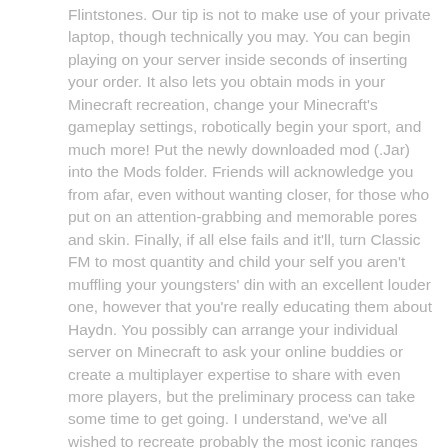Flintstones. Our tip is not to make use of your private laptop, though technically you may. You can begin playing on your server inside seconds of inserting your order. It also lets you obtain mods in your Minecraft recreation, change your Minecraft's gameplay settings, robotically begin your sport, and much more! Put the newly downloaded mod (.Jar) into the Mods folder. Friends will acknowledge you from afar, even without wanting closer, for those who put on an attention-grabbing and memorable pores and skin. Finally, if all else fails and it'll, turn Classic FM to most quantity and child your self you aren't muffling your youngsters' din with an excellent louder one, however that you're really educating them about Haydn. You possibly can arrange your individual server on Minecraft to ask your online buddies or create a multiplayer expertise to share with even more players, but the preliminary process can take some time to get going. I understand, we've all wished to recreate probably the most iconic ranges from Super Mario sixty four or your favorite CS:GO map, however it's an extended course of. After the release, all gamers of this game are eagerly waiting for the means of Minecraft 1.17 Cave Update Free Obtain. Mix a few mods, like introducing